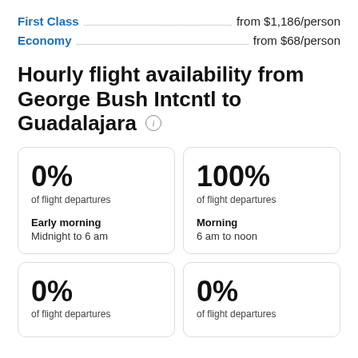First Class … from $1,186/person
Economy … from $68/person
Hourly flight availability from George Bush Intcntl to Guadalajara
0% of flight departures — Early morning — Midnight to 6 am
100% of flight departures — Morning — 6 am to noon
0% of flight departures
0% of flight departures